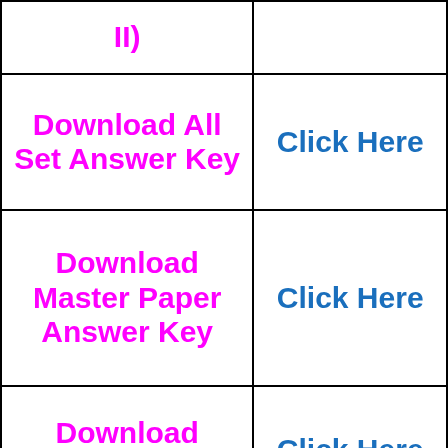| Action | Link |
| --- | --- |
| II) |  |
| Download All Set Answer Key | Click Here |
| Download Master Paper Answer Key | Click Here |
| Download Admit Card | Click Here |
| Download Syllabus | Click Here |